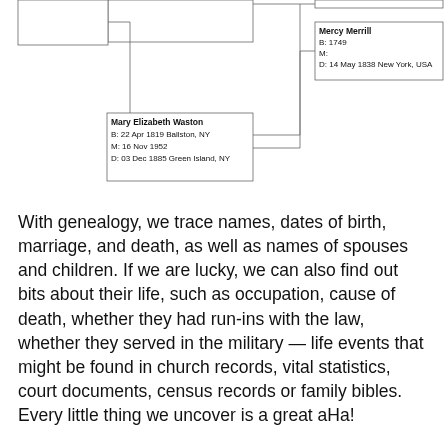[Figure (organizational-chart): Partial genealogy chart showing Mary Elizabeth Waston (B: 22 Apr 1819 Ballston, NY; M: 16 Nov 1952; D: 03 Dec 1885 Green Island, NY) and Mercy Merrill (B: 1749; M:; D: 14 May 1838 New York, USA) with connecting lines to ancestor boxes partially visible at top.]
With genealogy, we trace names, dates of birth, marriage, and death, as well as names of spouses and children. If we are lucky, we can also find out bits about their life, such as occupation, cause of death, whether they had run-ins with the law, whether they served in the military — life events that might be found in church records, vital statistics, court documents, census records or family bibles. Every little thing we uncover is a great aHa!